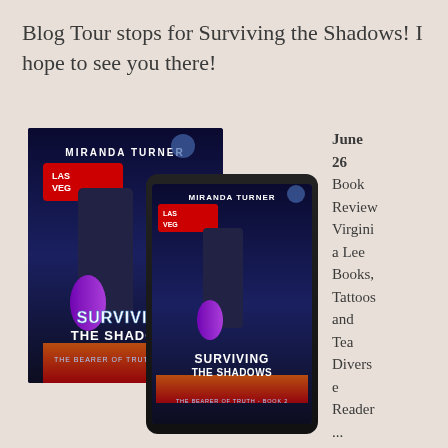Blog Tour stops for Surviving the Shadows! I hope to see you there!
[Figure (photo): Book cover and tablet mockup of 'Surviving the Shadows' by Miranda Turner (The Bearer of Truth - Book 2), showing a person in a leather jacket with purple flames against a Las Vegas backdrop, displayed as both a hardcover book and on a tablet screen.]
June 26
Book Review Virginia Lee Books, Tattoos and Tea Diverse Reader